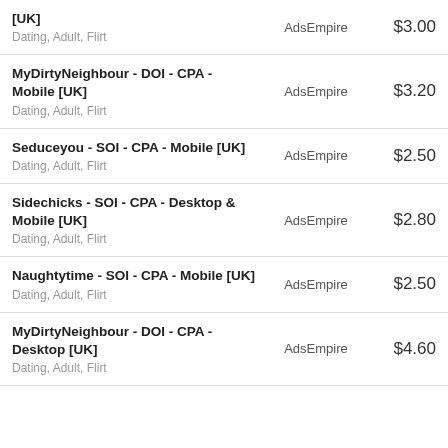| Offer | Network | Price |
| --- | --- | --- |
| [UK]
Dating, Adult, Flirt | AdsEmpire | $3.00 |
| MyDirtyNeighbour - DOI - CPA - Mobile [UK]
Dating, Adult, Flirt | AdsEmpire | $3.20 |
| Seduceyou - SOI - CPA - Mobile [UK]
Dating, Adult, Flirt | AdsEmpire | $2.50 |
| Sidechicks - SOI - CPA - Desktop & Mobile [UK]
Dating, Adult, Flirt | AdsEmpire | $2.80 |
| Naughtytime - SOI - CPA - Mobile [UK]
Dating, Adult, Flirt | AdsEmpire | $2.50 |
| MyDirtyNeighbour - DOI - CPA - Desktop [UK]
Dating, Adult, Flirt | AdsEmpire | $4.60 |